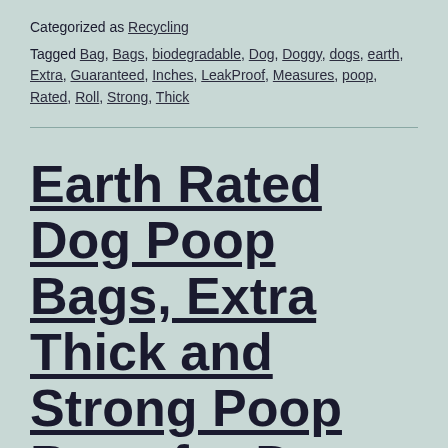Categorized as Recycling
Tagged Bag, Bags, biodegradable, Dog, Doggy, dogs, earth, Extra, Guaranteed, Inches, LeakProof, Measures, poop, Rated, Roll, Strong, Thick
Earth Rated Dog Poop Bags, Extra Thick and Strong Poop Bags for Dogs, Guaranteed Leak